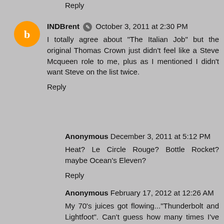Reply
INDBrent  October 3, 2011 at 2:30 PM
I totally agree about "The Italian Job" but the original Thomas Crown just didn't feel like a Steve Mcqueen role to me, plus as I mentioned I didn't want Steve on the list twice.
Reply
Anonymous  December 3, 2011 at 5:12 PM
Heat? Le Circle Rouge? Bottle Rocket? maybe Ocean's Eleven?
Reply
Anonymous  February 17, 2012 at 12:26 AM
My 70's juices got flowing..."Thunderbolt and Lightfoot". Can't guess how many times I've ENJOYED that gem.